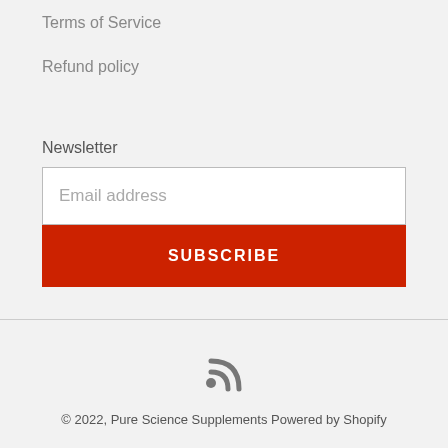Terms of Service
Refund policy
Newsletter
Email address
SUBSCRIBE
[Figure (other): RSS feed icon]
© 2022, Pure Science Supplements Powered by Shopify